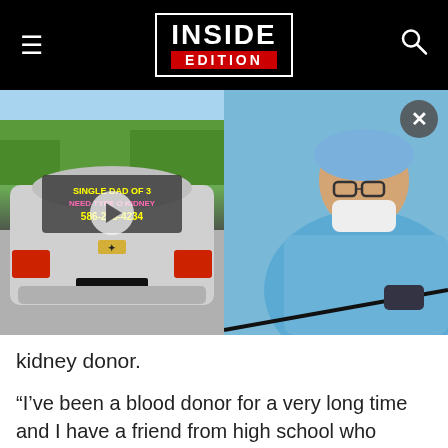INSIDE EDITION
[Figure (photo): Split image: left side shows rear of silver Chevrolet Cruze with text on rear window reading 'SINGLE DAD OF 3 NEED TYPE O KIDNEY 586-208-4234'; right side shows a surgeon in blue scrubs and surgical cap performing a procedure.]
kidney donor.
“I’ve been a blood donor for a very long time and I have a friend from high school who received a liver. I always thought that was just such a cool thing, that we were able to do that